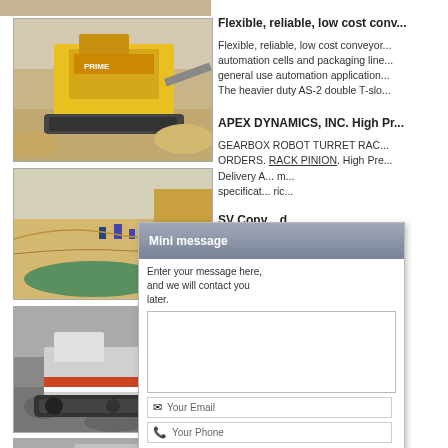[Figure (photo): Partial view of mining/industrial photo strip at top]
[Figure (photo): Yellow mining conveyor/crusher machine at a mining site with gravel and red earth]
[Figure (photo): Open-pit quarry with sandy/rocky terrain and green water pool]
[Figure (photo): Industrial crawler/track-mounted crusher machine on rocky ground]
[Figure (photo): Partial view of another mining/industrial photo at bottom]
Flexible, reliable, low cost conv...
Flexible, reliable, low cost conveyor... automation cells and packaging line... general use automation application... The heavier duty AS-2 double T-slo...
APEX DYNAMICS, INC. High Pr...
GEARBOX ROBOT TURRET RAC... ORDERS. RACK PINION. High Pre... Delivery A... m... specificat... ric...
SV Conv... d...
SVCE are... er... Pinion Ga... he... material t... w...
[Figure (screenshot): Mini message popup dialog with header 'Mini message', text area prompt, email and phone input fields, and Email Us / Send buttons]